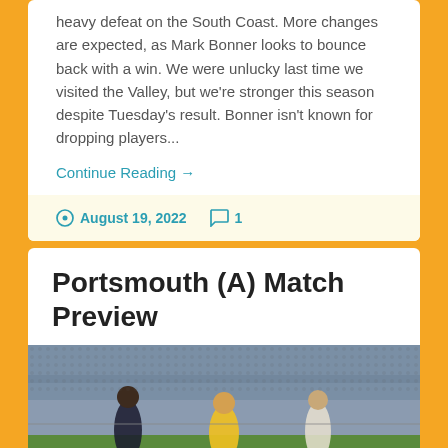heavy defeat on the South Coast. More changes are expected, as Mark Bonner looks to bounce back with a win. We were unlucky last time we visited the Valley, but we're stronger this season despite Tuesday's result. Bonner isn't known for dropping players...
Continue Reading →
August 19, 2022   1
Portsmouth (A) Match Preview
[Figure (photo): Football match photo showing players in yellow and dark kits on a pitch with a crowd in the background]